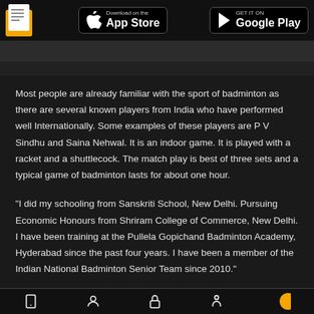Download on the App Store | GET IT ON Google Play
[Figure (photo): Partial image strip at top, dark background]
Most people are already familiar with the sport of badminton as there are several known players from India who have performed well Internationally. Some examples of these players are P V Sindhu and Saina Nehwal. It is an indoor game. It is played with a racket and a shuttlecock. The match play is best of three sets and a typical game of badminton lasts for about one hour.
"I did my schooling from Sanskriti School, New Delhi. Pursuing Economic Honours from Shriram College of Commerce, New Delhi. I have been training at the Pullela Gopichand Badminton Academy, Hyderabad since the past four years. I have been a member of the Indian National Badminton Senior Team since 2010."
Navigation bar with icons